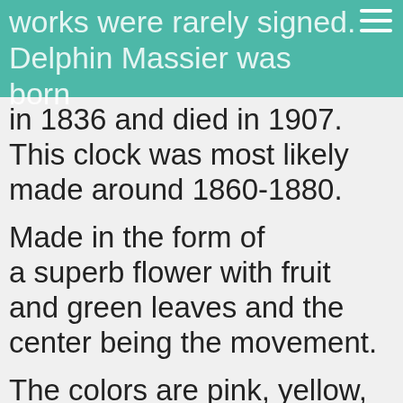works were rarely signed. Delphin Massier was born
Delphin Massier was born in 1836 and died in 1907. This clock was most likely made around 1860-1880.
Made in the form of a superb flower with fruit and green leaves and the center being the movement.
The colors are pink, yellow, green and dark purple.
The movement works, it's ticking away right now!